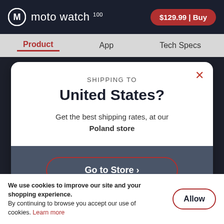moto watch 100  $129.99 | Buy
Product  App  Tech Specs
SHIPPING TO
United States?
Get the best shipping rates, at our Poland store
Go to Store ›
We use cookies to improve our site and your shopping experience. By continuing to browse you accept our use of cookies. Learn more
Allow